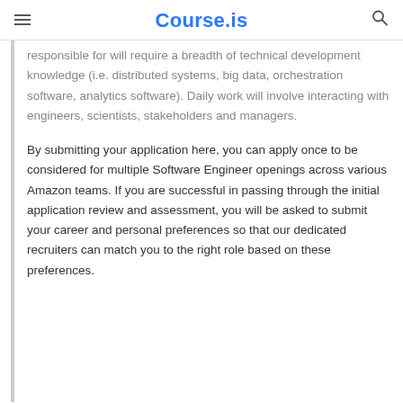Course.is
responsible for will require a breadth of technical development knowledge (i.e. distributed systems, big data, orchestration software, analytics software). Daily work will involve interacting with engineers, scientists, stakeholders and managers.
By submitting your application here, you can apply once to be considered for multiple Software Engineer openings across various Amazon teams. If you are successful in passing through the initial application review and assessment, you will be asked to submit your career and personal preferences so that our dedicated recruiters can match you to the right role based on these preferences.